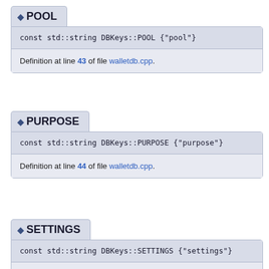◆ POOL
const std::string DBKeys::POOL {"pool"}
Definition at line 43 of file walletdb.cpp.
◆ PURPOSE
const std::string DBKeys::PURPOSE {"purpose"}
Definition at line 44 of file walletdb.cpp.
◆ SETTINGS
const std::string DBKeys::SETTINGS {"settings"}
Definition at line 45 of file walletdb.cpp.